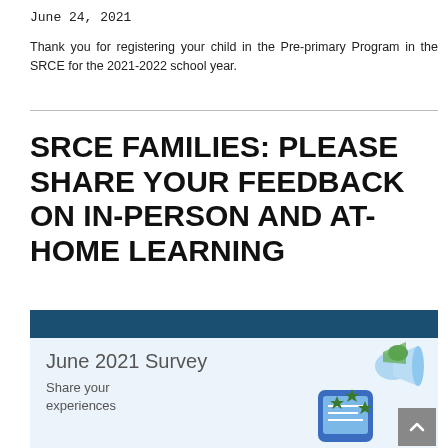June 24, 2021
Thank you for registering your child in the Pre-primary Program in the SRCE for the 2021-2022 school year.
SRCE FAMILIES: PLEASE SHARE YOUR FEEDBACK ON IN-PERSON AND AT-HOME LEARNING
[Figure (infographic): June 2021 Survey banner with dark blue header bar, light blue body, text 'June 2021 Survey' and 'Share your experiences', with an illustration of a smartphone with stars and a megaphone on the right side. A scroll-to-top button is visible in the bottom right corner.]